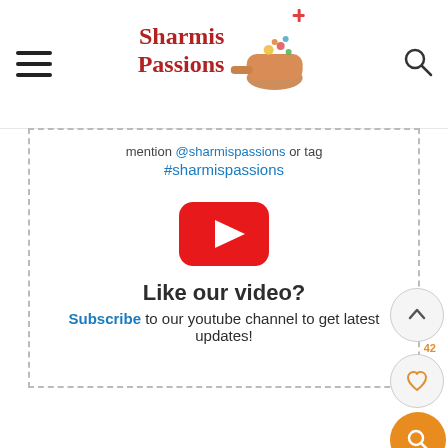Sharmis Passions
mention @sharmispassions or tag #sharmispassions
[Figure (other): YouTube play button icon (red rounded rectangle with white triangle)]
Like our video?
Subscribe to our youtube channel to get latest updates!